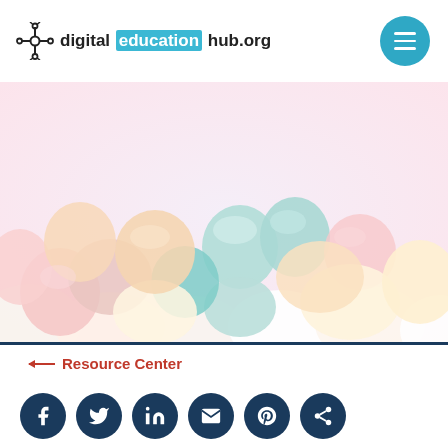digital education hub.org
[Figure (photo): Close-up photograph of colorful pastel marshmallows — pink, blue, yellow, orange, white — piled together]
← Resource Center
[Figure (infographic): Row of 6 dark navy circular social media icon buttons: Facebook, Twitter, LinkedIn, Email, Pinterest, Share]